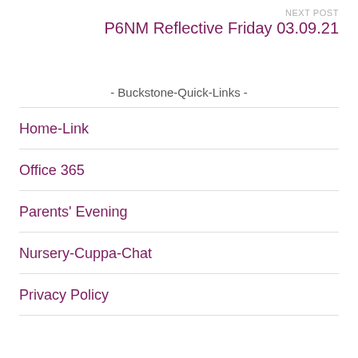NEXT POST
P6NM Reflective Friday 03.09.21
- Buckstone-Quick-Links -
Home-Link
Office 365
Parents' Evening
Nursery-Cuppa-Chat
Privacy Policy